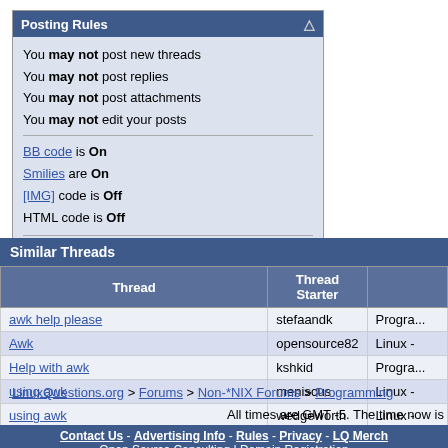Posting Rules
You may not post new threads
You may not post replies
You may not post attachments
You may not edit your posts
BB code is On
Smilies are On
[IMG] code is Off
HTML code is Off
Forum Rules
Similar Threads
| Thread | Thread Starter |  |
| --- | --- | --- |
| awk help please | stefaandk | Progra... |
| Awk | opensource82 | Linux - |
| Help with awk | kshkid | Progra... |
| using awk | meniscus | Linux - |
| using awk | wedgeworth | Linux - |
LinuxQuestions.org > Forums > Non-*NIX Forums > Programming
All times are GMT -5. The time now is
Contact Us - Advertising Info - Rules - Privacy - LQ Merch
Open Source Consulting | Domain Registration